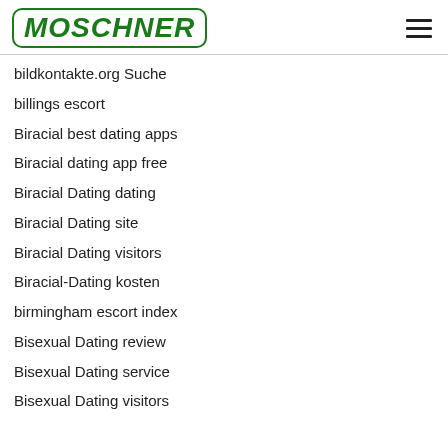MOSCHNER
bildkontakte.org Suche
billings escort
Biracial best dating apps
Biracial dating app free
Biracial Dating dating
Biracial Dating site
Biracial Dating visitors
Biracial-Dating kosten
birmingham escort index
Bisexual Dating review
Bisexual Dating service
Bisexual Dating visitors